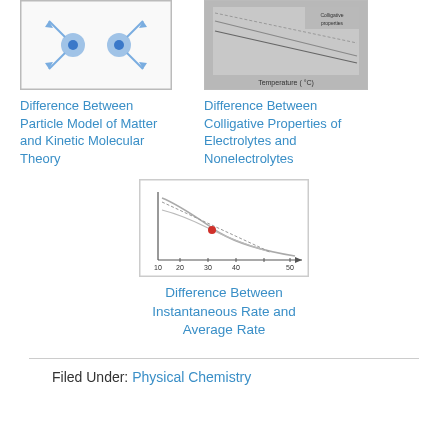[Figure (illustration): Thumbnail showing particle model/kinetic molecular theory diagram with blue molecule arrows on white background with border]
Difference Between Particle Model of Matter and Kinetic Molecular Theory
[Figure (continuous-plot): Thumbnail showing colligative properties graph with gray background, curves, and temperature axis]
Difference Between Colligative Properties of Electrolytes and Nonelectrolytes
[Figure (continuous-plot): Thumbnail showing instantaneous vs average rate graph with two curves, a red dot, and x-axis with tick marks on white background with border]
Difference Between Instantaneous Rate and Average Rate
Filed Under: Physical Chemistry